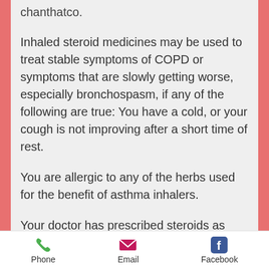chanthatco.
Inhaled steroid medicines may be used to treat stable symptoms of COPD or symptoms that are slowly getting worse, especially bronchospasm, if any of the following are true: You have a cold, or your cough is not improving after a short time of rest.
You are allergic to any of the herbs used for the benefit of asthma inhalers.
Your doctor has prescribed steroids as directed. Some herbs, such as sage, are not covered by the Food and Drug Administration's (FDA) prescription drug plan. If you are taking steroid medicines for the right dose, you may experience
Phone   Email   Facebook